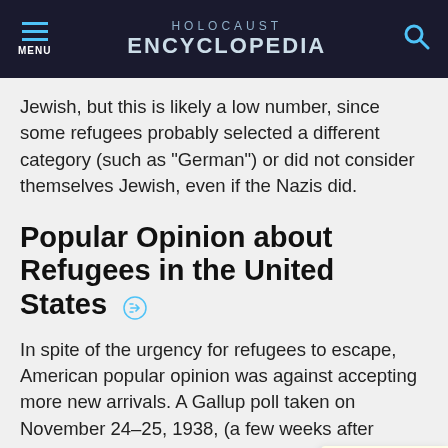HOLOCAUST ENCYCLOPEDIA
Jewish, but this is likely a low number, since some refugees probably selected a different category (such as “German”) or did not consider themselves Jewish, even if the Nazis did.
Popular Opinion about Refugees in the United States
In spite of the urgency for refugees to escape, American popular opinion was against accepting more new arrivals. A Gallup poll taken on November 24–25, 1938, (a few weeks after Kristallnacht) asked Americans: Should